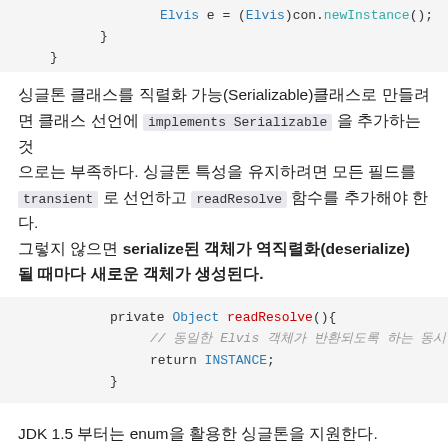Elvis e = (Elvis)con.newInstance();
    }
}
싱글톤 클래스를 직렬화 가능(Serializable)클래스로 만들려면 클래스 선언에 implements Serializable 을 추가하는 것으로는 부족하다. 싱글톤 특성을 유지하려면 모든 필드를 transient 로 선언하고 readResolve 함수를 추가해야 한다. 그렇지 않으면 serialize된 객체가 역직렬화(deserialize)될 때마다 새로운 객체가 생성된다.
private Object readResolve(){
    // 동일한 Elvis 객체가 반환되도록 하는 동시
    return INSTANCE;
}
JDK 1.5 부터는 enum을 활용한 싱글톤을 지원한다.